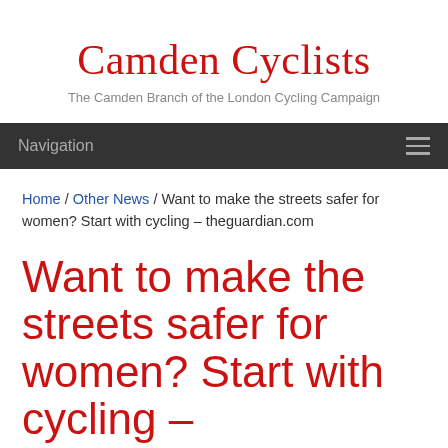Camden Cyclists
The Camden Branch of the London Cycling Campaign
Navigation
Home / Other News / Want to make the streets safer for women? Start with cycling – theguardian.com
Want to make the streets safer for women? Start with cycling –